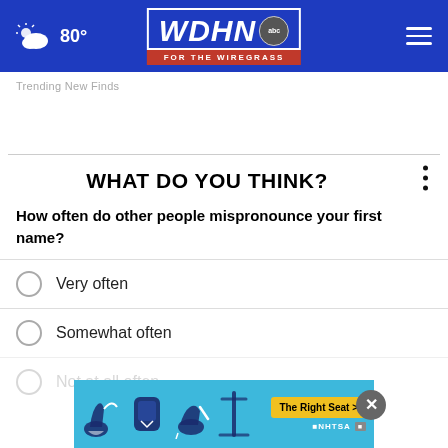WDHN ABC FOR THE WIREGRASS — 80°
Trending New Finds
WHAT DO YOU THINK?
How often do other people mispronounce your first name?
Very often
Somewhat often
Not at all often
[Figure (screenshot): Bottom advertisement banner for NHTSA The Right Seat campaign with car seat icons on blue background]